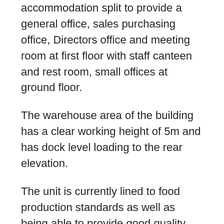accommodation split to provide a general office, sales purchasing office, Directors office and meeting room at first floor with staff canteen and rest room, small offices at ground floor.
The warehouse area of the building has a clear working height of 5m and has dock level loading to the rear elevation.
The unit is currently lined to food production standards as well as being able to provide good quality storage and warehousing it could very easily be utilised to provide clean room facilities as well as chilled storage.
Unit 2: